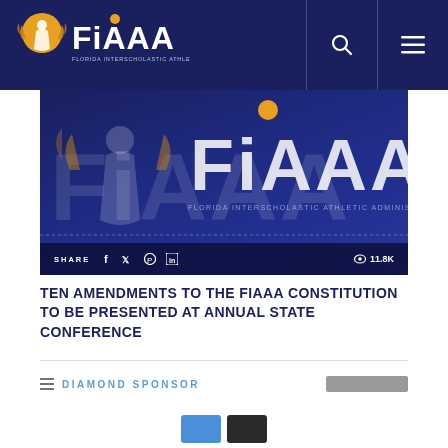FIAAA - Florida Interscholastic Athletic Administrators Association
[Figure (screenshot): FIAAA website hero banner with dark blue background showing FIAAA logo text, with SHARE bar at bottom showing social icons (f, twitter, pinterest, in) and 11.8K views]
TEN AMENDMENTS TO THE FIAAA CONSTITUTION TO BE PRESENTED AT ANNUAL STATE CONFERENCE
DIAMOND SPONSOR